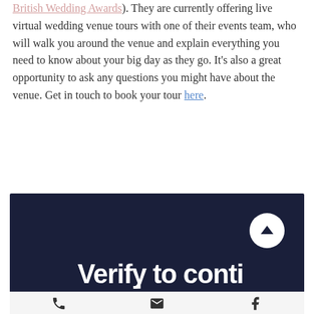British Wedding Awards). They are currently offering live virtual wedding venue tours with one of their events team, who will walk you around the venue and explain everything you need to know about your big day as they go. It's also a great opportunity to ask any questions you might have about the venue. Get in touch to book your tour here.
[Figure (screenshot): Dark navy background screenshot showing a Vimeo age verification prompt with text 'Verify to conti...' and 'vimeo' logo partially visible. A white circular chevron/up button appears in the upper right. A bottom action bar shows phone, email, and Facebook icons.]